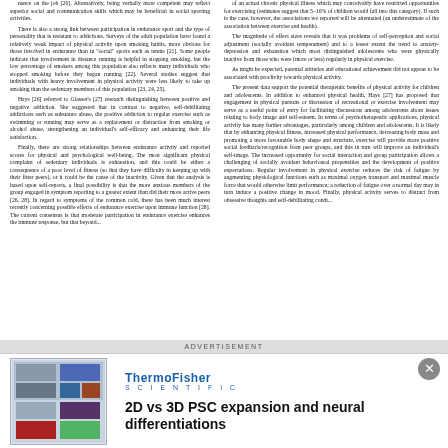nance on the job [20]. Alternatively, being verbally more competent may reflect superior social and communication skills which may be beneficial in social sporting activities.

There is also a strong link between participation in endurance sport and the type of personality that is resistant to addictions. Surveys of the adult population have found a relatively weak impact of physical activity upon smoking habits, more obvious for those involved in endurance than in "social" sports such as tennis [21]. Some people indicate that involvement in distance running is helpful in stopping smoking, but the low percentage of smokers among this population also reflects many individuals who stopped smoking before they began running [22]. Several studies suggest that individuals with heavy involvement in physical activity were less likely to take up smoking than the sedentary members of this population [23, 24, 25].

Hays [26] referred to Glasser's [27] research distinguishing between positive and negative addiction. She suggested that in contrast to negative, self-debilitating addictions such as substance abuse, the positive addiction to regular exercise such as swimming or running may serve as a replacement or distraction from smoking or alcohol abuse, strengthening an individual's self-efficacy and enhancing their life satisfaction.

Finally, there are strong relationships between endurance activity and reported scores for physical and psychological well-being. The most significant physical complaint of sedentary individuals is exhaustion, and this could be either a consequence of a poor level of fitness (so that they have difficulty in keeping up with their fitter peers), or it could be the cause of the inactivity. Given that the analysis is based upon self-reports, a final possibility is that the more anxious members of the group engaged in symptom reporting to a greater extent than did their more active peers [26, 28]. In regard to symptoms of the common cold, there has been much interest recently concerning possible effects of endurance exercise upon immune function [28]. The current consensus is that moderate participation in endurance exercise enhances the immune response, but that beyond...
of an actual chronic physical illness which may conceivably have restricted opportunities for exercising (estimates suggest that 5–10% of children would fall into this category). If such is the case, however, the associations we reported will be attenuated (an underestimate of the association between exercise and health).

The magnitude of effect sizes reveals that it was problems of self-perception and social adjustment (socially avoidant temperament) and to a lesser extent the trend to anxiety-depression and exhaustion which most distinguished adolescents who were physically inactive from those who were (more or less) regularly in physical exercise.

As might be expected, parental attitudes and educational achievement did not appear to be associated with proclivity towards physical activity.

The present data support the potential therapeutic benefits of physical activity for children and adolescents. In addition to enhanced physical health, Hays [27] has proposed that engagement in physical pursuits or discussion of recreational or exercise involvement may serve as a useful point of entry for facilitating discussions among adolescents about issues relating to body image and self-esteem. In terms of psychotherapeutic applications, physical activity has many further advantages, particularly among children and adolescents. It is likely that by enhancing physical fitness, increased physical performance, decreasing body mass and promoting a more favourable body shape and structure, exercise will provide more positive social feedback/recognition from peer groups, and this in turn will improve an individual's self-image. The increased opportunity for social interaction and group participation allows a challenging of socially avoidant behavioural propensities and the development of positive expectations. Regular involvement in physical exercise reduces the risk of fatigue by augmenting physiological functions such as maximal oxygen transport and maximal muscle force that would otherwise limit performance; a reduction of fatigue over a normal day may in turn induce a positive change in mood. Finally, physical activity serves to distract from obsessive thoughts and self-debilitating condi...
Advertisement
[Figure (illustration): Thermo Fisher Scientific advertisement showing a poster image on the left side with microscopy/cell culture images]
2D vs 3D PSC expansion and neural differentiations